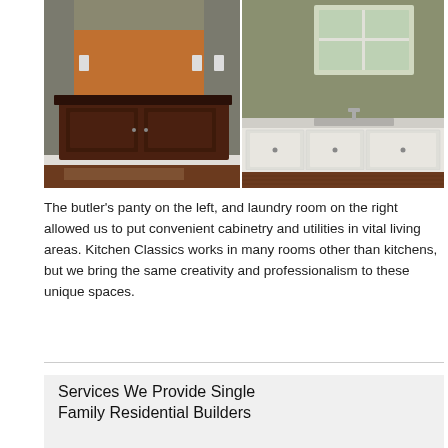[Figure (photo): Two side-by-side interior photos: left shows a butler's pantry with dark wood cabinetry against an orange wall; right shows a laundry room with white cabinetry, granite countertop, and a window above a sink.]
The butler's panty on the left, and laundry room on the right allowed us to put convenient cabinetry and utilities in vital living areas. Kitchen Classics works in many rooms other than kitchens, but we bring the same creativity and professionalism to these unique spaces.
Services We Provide Single Family Residential Builders